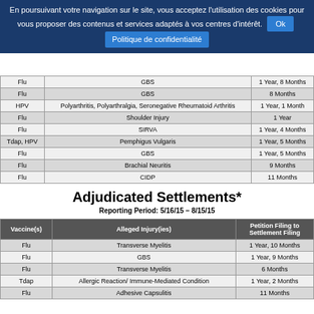En poursuivant votre navigation sur le site, vous acceptez l'utilisation des cookies pour vous proposer des contenus et services adaptés à vos centres d'intérêt. Ok  Politique de confidentialité
| Vaccine(s) | Alleged Injury(ies) | Petition Filing to Settlement Filing |
| --- | --- | --- |
| Flu | GBS | 1 Year, 8 Months |
| Flu | GBS | 8 Months |
| HPV | Polyarthritis, Polyarthralgia, Seronegative Rheumatoid Arthritis | 1 Year, 1 Month |
| Flu | Shoulder Injury | 1 Year |
| Flu | SIRVA | 1 Year, 4 Months |
| Tdap, HPV | Pemphigus Vulgaris | 1 Year, 5 Months |
| Flu | GBS | 1 Year, 5 Months |
| Flu | Brachial Neuritis | 9 Months |
| Flu | CIDP | 11 Months |
Adjudicated Settlements*
Reporting Period: 5/16/15 – 8/15/15
| Vaccine(s) | Alleged Injury(ies) | Petition Filing to Settlement Filing |
| --- | --- | --- |
| Flu | Transverse Myelitis | 1 Year, 10 Months |
| Flu | GBS | 1 Year, 9 Months |
| Flu | Transverse Myelitis | 6 Months |
| Tdap | Allergic Reaction/ Immune-Mediated Condition | 1 Year, 2 Months |
| Flu | Adhesive Capsulitis | 11 Months |